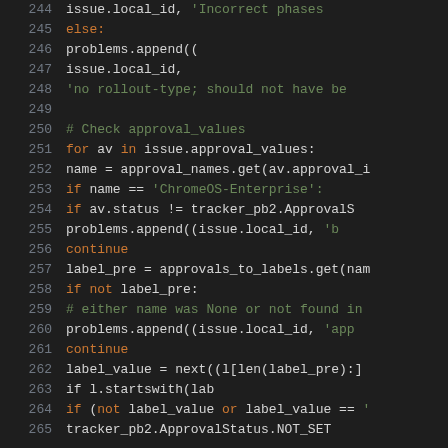[Figure (screenshot): Python source code snippet showing lines 244-265, syntax highlighted on a dark background. Code involves checking approval values, iterating with for loop, and conditionally appending problems.]